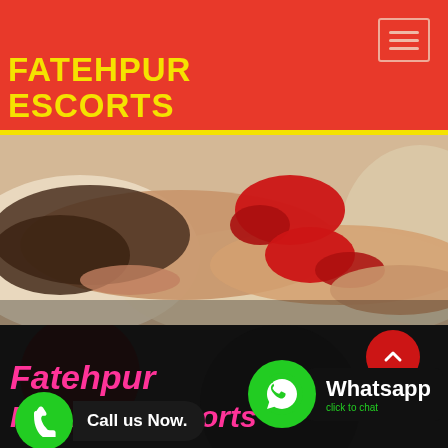FATEHPUR ESCORTS
[Figure (photo): Woman in red lingerie lying on a white bed, viewed from behind]
Fatehpur
Fatehpur Escorts
Call us Now.
Whatsapp click to chat